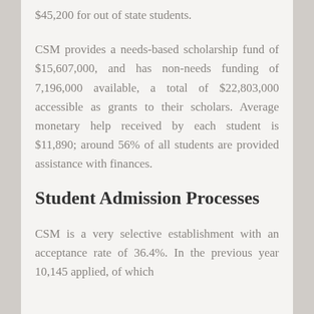$45,200 for out of state students.
CSM provides a needs-based scholarship fund of $15,607,000, and has non-needs funding of 7,196,000 available, a total of $22,803,000 accessible as grants to their scholars. Average monetary help received by each student is $11,890; around 56% of all students are provided assistance with finances.
Student Admission Processes
CSM is a very selective establishment with an acceptance rate of 36.4%. In the previous year 10,145 applied, of which